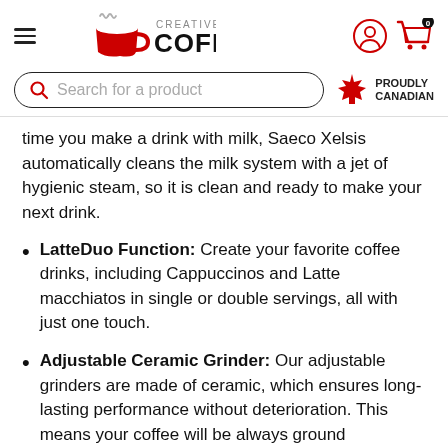Creative Coffee
time you make a drink with milk, Saeco Xelsis automatically cleans the milk system with a jet of hygienic steam, so it is clean and ready to make your next drink.
LatteDuo Function: Create your favorite coffee drinks, including Cappuccinos and Latte macchiatos in single or double servings, all with just one touch.
Adjustable Ceramic Grinder: Our adjustable grinders are made of ceramic, which ensures long-lasting performance without deterioration. This means your coffee will be always ground